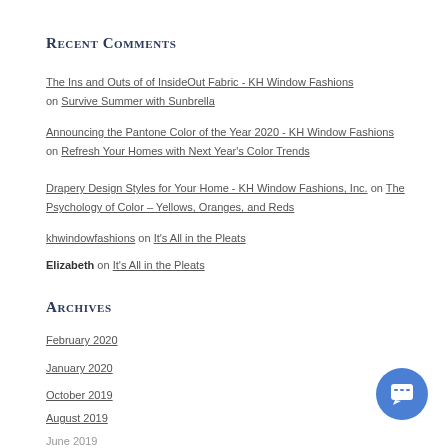Recent Comments
The Ins and Outs of of InsideOut Fabric - KH Window Fashions on Survive Summer with Sunbrella
Announcing the Pantone Color of the Year 2020 - KH Window Fashions on Refresh Your Homes with Next Year's Color Trends
Drapery Design Styles for Your Home - KH Window Fashions, Inc. on The Psychology of Color – Yellows, Oranges, and Reds
khwindowfashions on It's All in the Pleats
Elizabeth on It's All in the Pleats
Archives
February 2020
January 2020
October 2019
August 2019
June 2019
May 2019